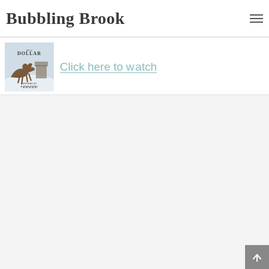Bubbling Brook
[Figure (screenshot): Website screenshot showing Bubbling Brook blog header with logo and hamburger menu, followed by a movie poster for 'For a Dollar' featuring a horse running in a snowy landscape with the text 'Inspired by a True Story' and star ratings, alongside a 'Click here to watch' link in teal color. Below is a large light gray content area with a dark scroll-to-top button in the bottom right corner.]